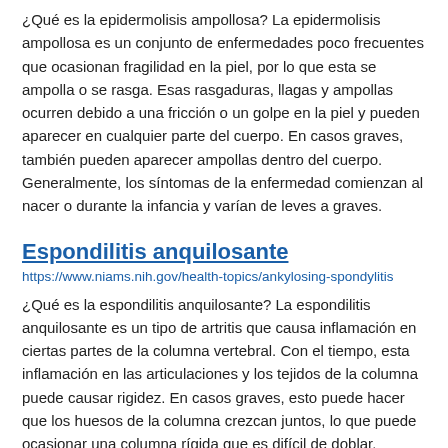¿Qué es la epidermolisis ampollosa? La epidermolisis ampollosa es un conjunto de enfermedades poco frecuentes que ocasionan fragilidad en la piel, por lo que esta se ampolla o se rasga. Esas rasgaduras, llagas y ampollas ocurren debido a una fricción o un golpe en la piel y pueden aparecer en cualquier parte del cuerpo. En casos graves, también pueden aparecer ampollas dentro del cuerpo. Generalmente, los síntomas de la enfermedad comienzan al nacer o durante la infancia y varían de leves a graves.
Espondilitis anquilosante
https://www.niams.nih.gov/health-topics/ankylosing-spondylitis
¿Qué es la espondilitis anquilosante? La espondilitis anquilosante es un tipo de artritis que causa inflamación en ciertas partes de la columna vertebral. Con el tiempo, esta inflamación en las articulaciones y los tejidos de la columna puede causar rigidez. En casos graves, esto puede hacer que los huesos de la columna crezcan juntos, lo que puede ocasionar una columna rígida que es difícil de doblar. Muchas personas con espondilitis anquilosante tienen episodios leves de rigidez y dolores de espalda esporádicos. Pero en otros casos, hay rigidez y dolores de espalda severos y continuos. También pueden presentarse otros síntomas si